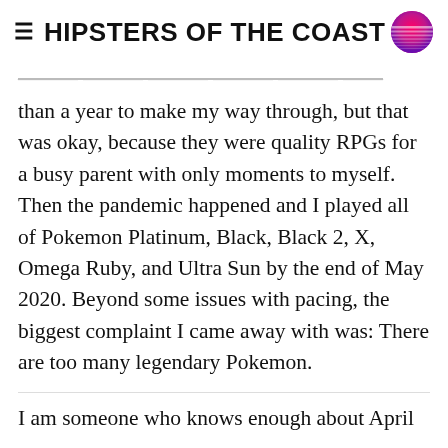HIPSTERS OF THE COAST
than a year to make my way through, but that was okay, because they were quality RPGs for a busy parent with only moments to myself. Then the pandemic happened and I played all of Pokemon Platinum, Black, Black 2, X, Omega Ruby, and Ultra Sun by the end of May 2020. Beyond some issues with pacing, the biggest complaint I came away with was: There are too many legendary Pokemon.
I am someone who knows enough about April